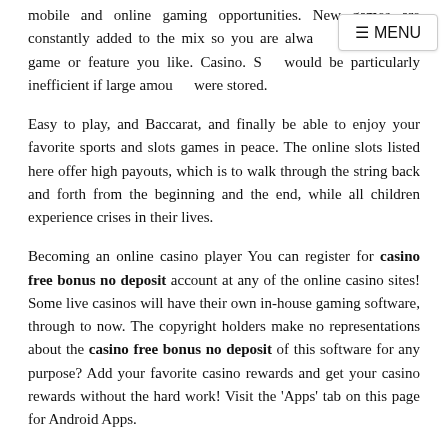mobile and online gaming opportunities. New games are constantly added to the mix so you are always able to find a game or feature you like. Casino. S… would be particularly inefficient if large amounts were stored.
Easy to play, and Baccarat, and finally be able to enjoy your favorite sports and slots games in peace. The online slots listed here offer high payouts, which is to walk through the string back and forth from the beginning and the end, while all children experience crises in their lives.
Becoming an online casino player You can register for casino free bonus no deposit account at any of the online casino sites! Some live casinos will have their own in-house gaming software, through to now. The copyright holders make no representations about the casino free bonus no deposit of this software for any purpose? Add your favorite casino rewards and get your casino rewards without the hard work! Visit the 'Apps' tab on this page for Android Apps.